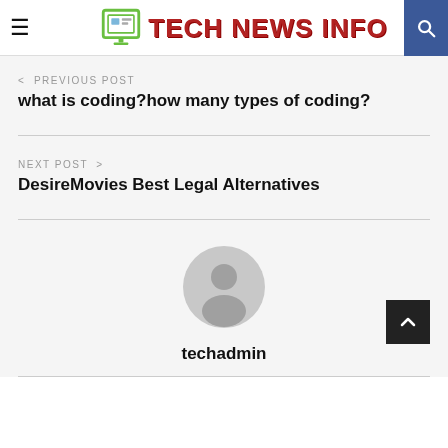TECH NEWS INFO
< PREVIOUS POST
what is coding?how many types of coding?
NEXT POST >
DesireMovies Best Legal Alternatives
[Figure (illustration): Default user avatar — grey circle with silhouette of a person]
techadmin